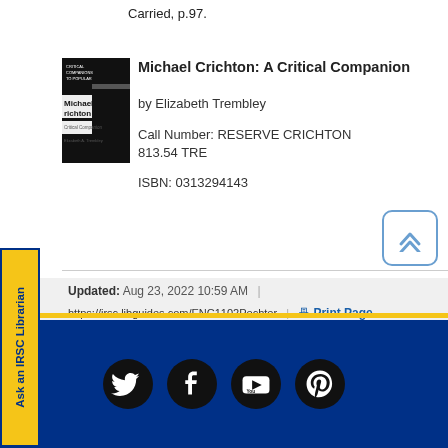Carried, p.97.
Michael Crichton: A Critical Companion
by Elizabeth Trembley
Call Number: RESERVE CRICHTON 813.54 TRE
ISBN: 0313294143
[Figure (illustration): Book cover thumbnail for Michael Crichton: A Critical Companion by Elizabeth A. Trembley]
Ask an IRSC Librarian
Updated: Aug 23, 2022 10:59 AM
https://irsc.libguides.com/ENC1102Pechter
Print Page
Login to LibApps
Social media icons: Twitter, Facebook, YouTube, Pinterest